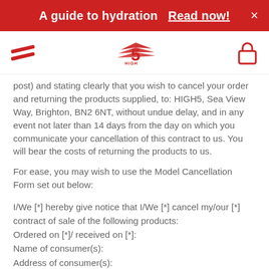A guide to hydration   Read now!   ×
[Figure (logo): Navigation bar with hamburger menu icon (two diagonal red lines), High5 logo in center, and lock icon on right]
post) and stating clearly that you wish to cancel your order and returning the products supplied, to: HIGH5, Sea View Way, Brighton, BN2 6NT, without undue delay, and in any event not later than 14 days from the day on which you communicate your cancellation of this contract to us. You will bear the costs of returning the products to us.
For ease, you may wish to use the Model Cancellation Form set out below:
I/We [*] hereby give notice that I/We [*] cancel my/our [*] contract of sale of the following products:
Ordered on [*]/ received on [*]:
Name of consumer(s):
Address of consumer(s):
Signature of consumer(s) (only if this form is notified on